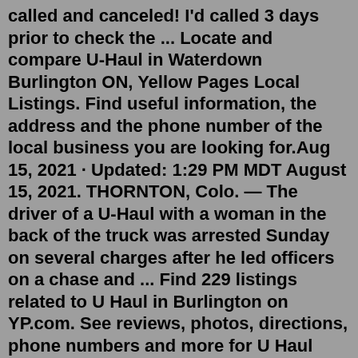called and canceled! I'd called 3 days prior to check the ... Locate and compare U-Haul in Waterdown Burlington ON, Yellow Pages Local Listings. Find useful information, the address and the phone number of the local business you are looking for.Aug 15, 2021 · Updated: 1:29 PM MDT August 15, 2021. THORNTON, Colo. — The driver of a U-Haul with a woman in the back of the truck was arrested Sunday on several charges after he led officers on a chase and ... Find 229 listings related to U Haul in Burlington on YP.com. See reviews, photos, directions, phone numbers and more for U Haul locations in Burlington, NC. Mt. Vernon Self Storage offers Mt. Vernon's best self storage prices and a wide variety of packing supplies and boxes for your needs. Contact us today! (360) 848-7867From home goods to business records, valuables to vehicles, even boats and RVs, Burlington Self Storage has the space you need. With indoor and outdoor units ranging from a locker-sized 5x4 up to a garage-sized 10x40 and even larger, we've